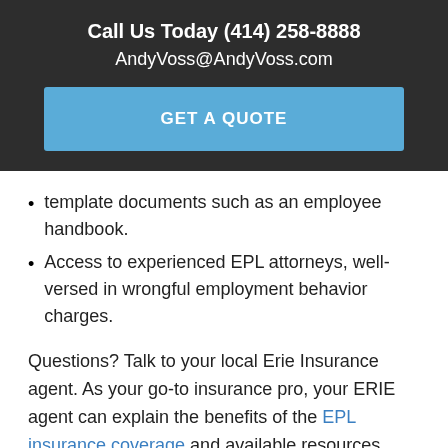Call Us Today (414) 258-8888
AndyVoss@AndyVoss.com
GET A QUOTE
template documents such as an employee handbook.
Access to experienced EPL attorneys, well-versed in wrongful employment behavior charges.
Questions? Talk to your local Erie Insurance agent. As your go-to insurance pro, your ERIE agent can explain the benefits of the EPL insurance coverage and available resources, and get you a free quote.